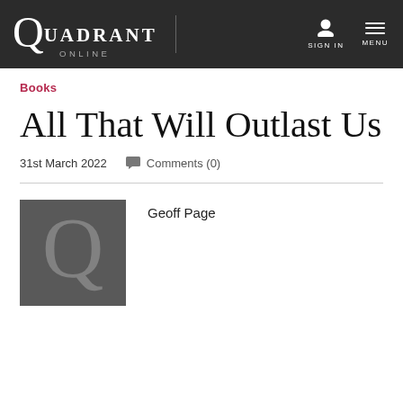QUADRANT ONLINE | SIGN IN | MENU
Books
All That Will Outlast Us
31st March 2022   Comments (0)
[Figure (logo): Quadrant Q logo on dark grey background]
Geoff Page